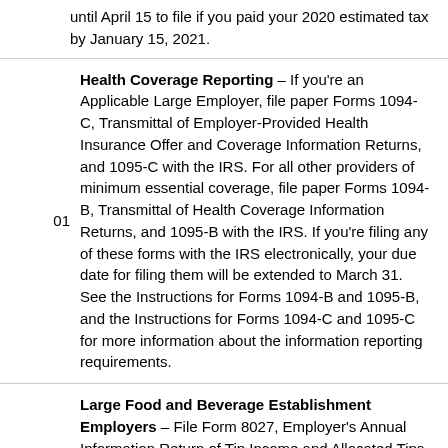until April 15 to file if you paid your 2020 estimated tax by January 15, 2021.
Health Coverage Reporting – If you're an Applicable Large Employer, file paper Forms 1094-C, Transmittal of Employer-Provided Health Insurance Offer and Coverage Information Returns, and 1095-C with the IRS. For all other providers of minimum essential coverage, file paper Forms 1094-B, Transmittal of Health Coverage Information Returns, and 1095-B with the IRS. If you're filing any of these forms with the IRS electronically, your due date for filing them will be extended to March 31. See the Instructions for Forms 1094-B and 1095-B, and the Instructions for Forms 1094-C and 1095-C for more information about the information reporting requirements.
Large Food and Beverage Establishment Employers – File Form 8027, Employer's Annual Information Return of Tip Income and Allocated Tips. Use Form 8027-T, Transmittal of